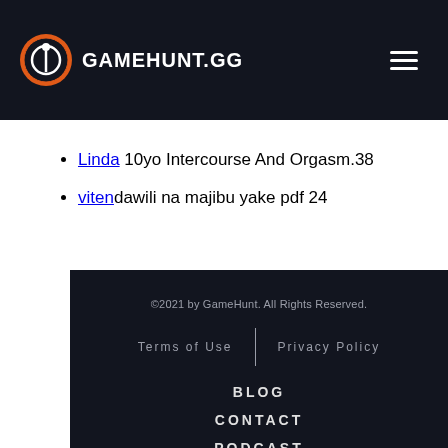GAMEHUNT.GG
Linda 10yo Intercourse And Orgasm.38
vitendawili na majibu yake pdf 24
©2021 by GameHunt. All Rights Reserved. Terms of Use | Privacy Policy BLOG CONTACT PODCAST